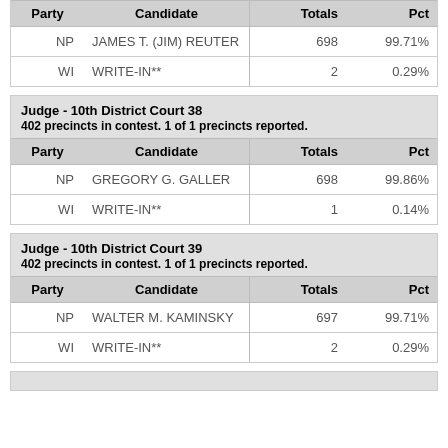| Party | Candidate | Totals | Pct |
| --- | --- | --- | --- |
| NP | JAMES T. (JIM) REUTER | 698 | 99.71% |
| WI | WRITE-IN** | 2 | 0.29% |
Judge - 10th District Court 38
402 precincts in contest. 1 of 1 precincts reported.
| Party | Candidate | Totals | Pct |
| --- | --- | --- | --- |
| NP | GREGORY G. GALLER | 698 | 99.86% |
| WI | WRITE-IN** | 1 | 0.14% |
Judge - 10th District Court 39
402 precincts in contest. 1 of 1 precincts reported.
| Party | Candidate | Totals | Pct |
| --- | --- | --- | --- |
| NP | WALTER M. KAMINSKY | 697 | 99.71% |
| WI | WRITE-IN** | 2 | 0.29% |